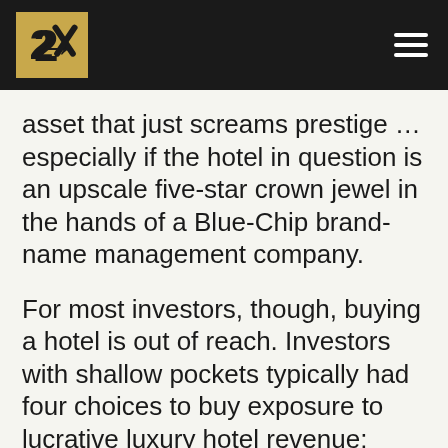[Logo] [hamburger menu]
asset that just screams prestige … especially if the hotel in question is an upscale five-star crown jewel in the hands of a Blue-Chip brand-name management company.
For most investors, though, buying a hotel is out of reach. Investors with shallow pockets typically had four choices to buy exposure to lucrative luxury hotel revenue:
Pool money into a syndicated or crowdfunded acquisition.
Buy shares in a hotel-focused